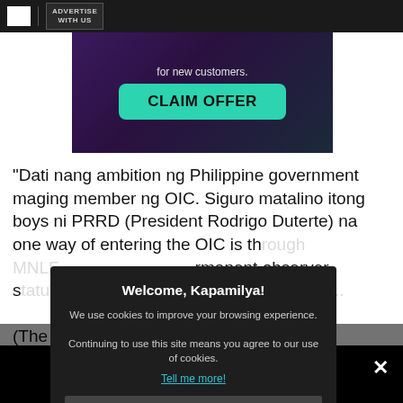ADVERTISE WITH US
[Figure (screenshot): Advertisement banner with dark purple/teal gradient background showing 'for new customers.' text and a teal 'CLAIM OFFER' button]
"Dati nang ambition ng Philippine government maging member ng OIC. Siguro matalino itong boys ni PRRD (President Rodrigo Duterte) na one way of entering the OIC is th... MNLF... rmanent observer s... hilippine governme...
(The Philip... be a member o... men are bright tha... ng the OIC is through... rmanent
[Figure (screenshot): Cookie consent modal dialog with dark background titled 'Welcome, Kapamilya!' with cookie usage notice, 'Tell me more!' link and 'I AGREE!' button]